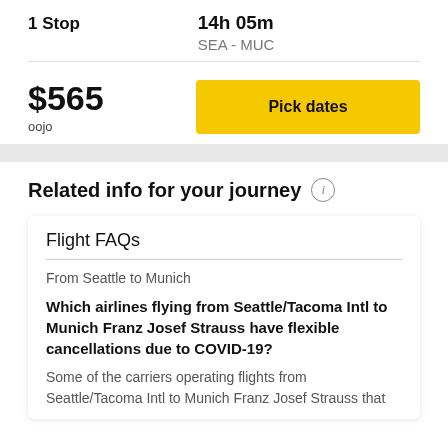1 Stop
14h 05m
SEA - MUC
$565
oojo
Pick dates
Related info for your journey
Flight FAQs
From Seattle to Munich
Which airlines flying from Seattle/Tacoma Intl to Munich Franz Josef Strauss have flexible cancellations due to COVID-19?
Some of the carriers operating flights from Seattle/Tacoma Intl to Munich Franz Josef Strauss that